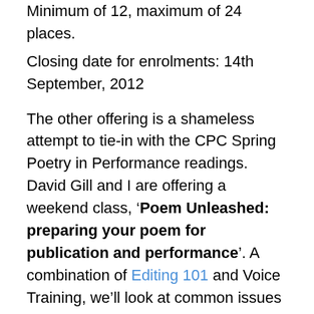Minimum of 12, maximum of 24 places.
Closing date for enrolments: 14th September, 2012
The other offering is a shameless attempt to tie-in with the CPC Spring Poetry in Performance readings. David Gill and I are offering a weekend class, ‘Poem Unleashed: preparing your poem for publication and performance’. A combination of Editing 101 and Voice Training, we’ll look at common issues that come up when editing a poem, workshop submitted poems (one each, no more than 50 lines long) as a group, and discuss tactics for making editing easier. David will take us through some vocal work, and look at how to annotate the poem and rehearse it for performance, (with the sneaky aim of putting what we learn into practice at the Open Mic sessions of the CPC readings). We’ll also look at the do’s and don’t’s of submission, and some very practical steps